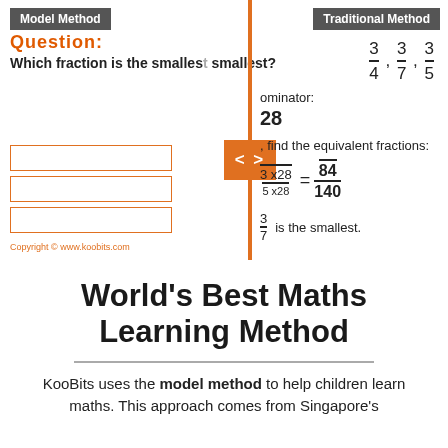[Figure (screenshot): Educational screenshot showing Model Method vs Traditional Method for comparing fractions 3/4, 3/7, 3/5 using LCM 28, with orange navigation divider and model boxes]
World’s Best Maths Learning Method
KooBits uses the model method to help children learn maths. This approach comes from Singapore’s